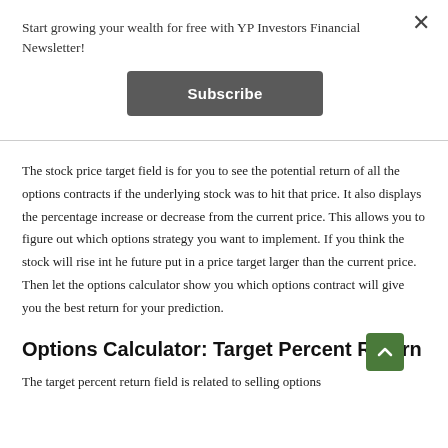Start growing your wealth for free with YP Investors Financial Newsletter!
Subscribe
The stock price target field is for you to see the potential return of all the options contracts if the underlying stock was to hit that price. It also displays the percentage increase or decrease from the current price. This allows you to figure out which options strategy you want to implement. If you think the stock will rise int he future put in a price target larger than the current price. Then let the options calculator show you which options contract will give you the best return for your prediction.
Options Calculator: Target Percent Return
The target percent return field is related to selling options